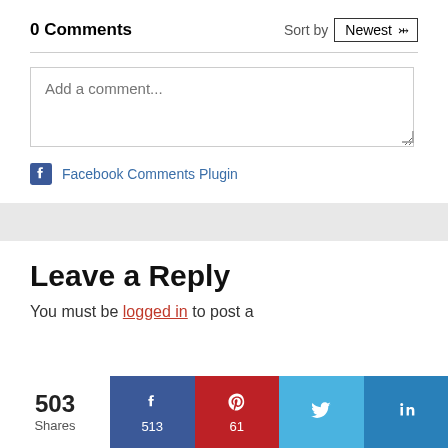0 Comments
Sort by Newest
Add a comment...
Facebook Comments Plugin
Leave a Reply
You must be logged in to post a
503 Shares
513
61